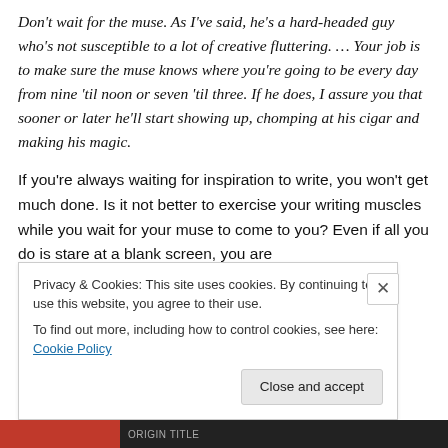Don't wait for the muse. As I've said, he's a hard-headed guy who's not susceptible to a lot of creative fluttering. … Your job is to make sure the muse knows where you're going to be every day from nine 'til noon or seven 'til three. If he does, I assure you that sooner or later he'll start showing up, chomping at his cigar and making his magic.
If you're always waiting for inspiration to write, you won't get much done. Is it not better to exercise your writing muscles while you wait for your muse to come to you? Even if all you do is stare at a blank screen, you are
Privacy & Cookies: This site uses cookies. By continuing to use this website, you agree to their use.
To find out more, including how to control cookies, see here: Cookie Policy
Close and accept